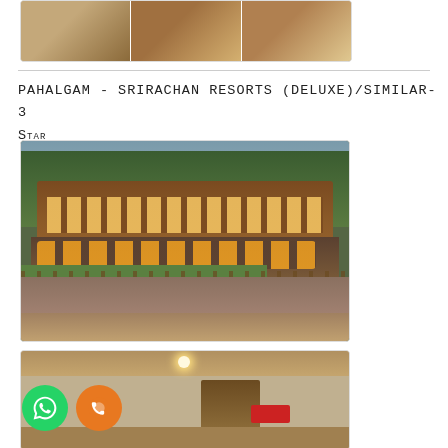[Figure (photo): Top partial image showing a hotel room interior with wooden furniture and food items on a table, three-panel composite photo.]
Pahalgam - Srirachan Resorts (Deluxe)/Similar- 3 Star
[Figure (photo): Exterior night view of Srirachan Resorts in Pahalgam, showing a wooden chalet-style building lit up with warm lights, surrounded by trees, with a walkway and stone lower level with arched windows.]
[Figure (photo): Interior photo of a hotel lobby or corridor with wooden ceiling, stone walls, and WhatsApp and phone call icons overlaid at the bottom left.]